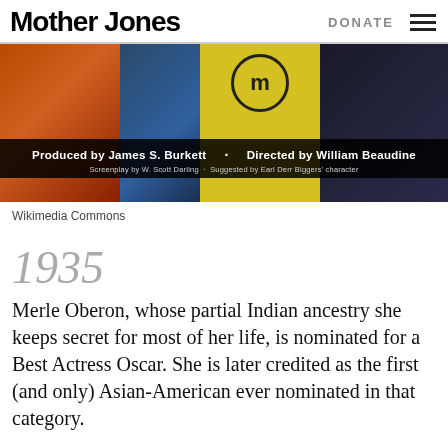Mother Jones | DONATE
[Figure (photo): Movie poster or film still showing colored panels including orange, blue/dark, and yellow sections with a circular logo. Black overlay bar at bottom reads: Produced by James S. Burkett · Directed by William Beaudine / Screenplay by W. Scott Darling · Suggested by Earl Derr Biggers' character]
Wikimedia Commons
1935
Merle Oberon, whose partial Indian ancestry she keeps secret for most of her life, is nominated for a Best Actress Oscar. She is later credited as the first (and only) Asian-American ever nominated in that category.